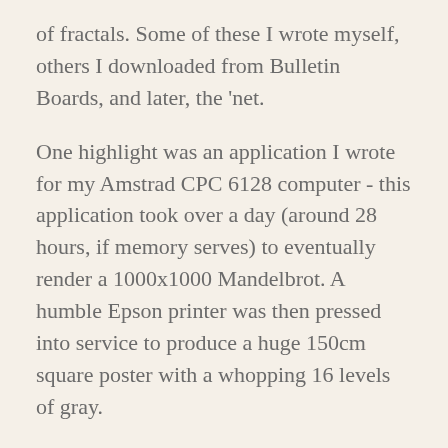of fractals. Some of these I wrote myself, others I downloaded from Bulletin Boards, and later, the ‘net.
One highlight was an application I wrote for my Amstrad CPC 6128 computer - this application took over a day (around 28 hours, if memory serves) to eventually render a 1000x1000 Mandelbrot. A humble Epson printer was then pressed into service to produce a huge 150cm square poster with a whopping 16 levels of gray.
Another was a Turbo Pascal application I wrote to draw a monochrome fractal on the Hercules display of a friends 286 (Hi Daniel!). We were both amazed at how fast this 12MHz PC ran.
Since those heady days I’ve played around with